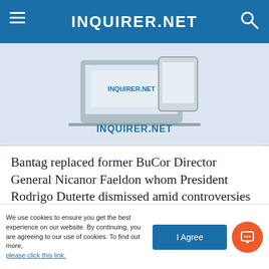INQUIRER.NET
[Figure (screenshot): Advertisement banner showing a laptop/tablet with INQUIRER.NET logo and text on light blue background]
Bantag replaced former BuCor Director General Nicanor Faeldon whom President Rodrigo Duterte dismissed amid controversies surrounding the implementation of the good conduct time allowance (GCTA) law that allowed the release of over nearly 2,000 heinous crime convicts.
Bantag said he started his job at BuCor three days
We use cookies to ensure you get the best experience on our website. By continuing, you are agreeing to our use of cookies. To find out more, please click this link.